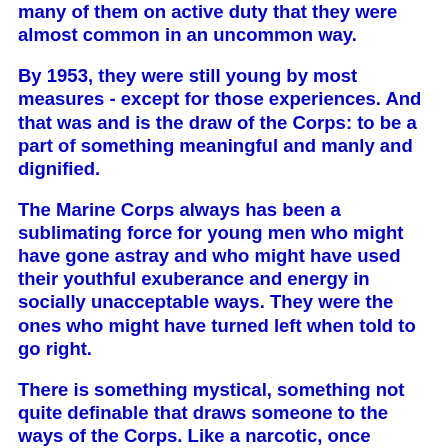many of them on active duty that they were almost common in an uncommon way.
By 1953, they were still young by most measures - except for those experiences. And that was and is the draw of the Corps: to be a part of something meaningful and manly and dignified.
The Marine Corps always has been a sublimating force for young men who might have gone astray and who might have used their youthful exuberance and energy in socially unacceptable ways. They were the ones who might have turned left when told to go right.
There is something mystical, something not quite definable that draws someone to the ways of the Corps. Like a narcotic, once injected it can control the soul, absorbing a person in ways that never can be fully understood or apprecjated